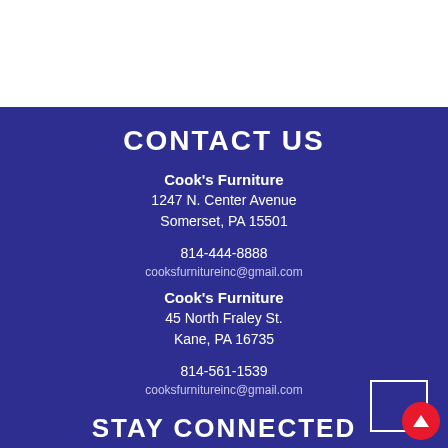CONTACT US
Cook's Furniture
1247 N. Center Avenue
Somerset, PA 15501
814-444-8888
cooksfurnitureinc@gmail.com
Cook's Furniture
45 North Fraley St.
Kane, PA 16735
814-561-1539
cooksfurnitureinc@gmail.com
STAY CONNECTED